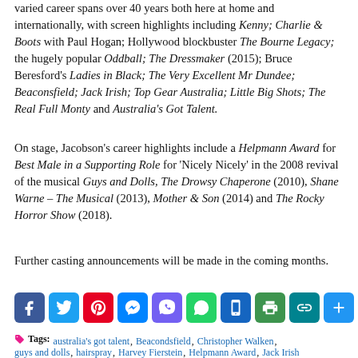varied career spans over 40 years both here at home and internationally, with screen highlights including Kenny; Charlie & Boots with Paul Hogan; Hollywood blockbuster The Bourne Legacy; the hugely popular Oddball; The Dressmaker (2015); Bruce Beresford's Ladies in Black; The Very Excellent Mr Dundee; Beaconsfield; Jack Irish; Top Gear Australia; Little Big Shots; The Real Full Monty and Australia's Got Talent.
On stage, Jacobson's career highlights include a Helpmann Award for Best Male in a Supporting Role for 'Nicely Nicely' in the 2008 revival of the musical Guys and Dolls, The Drowsy Chaperone (2010), Shane Warne – The Musical (2013), Mother & Son (2014) and The Rocky Horror Show (2018).
Further casting announcements will be made in the coming months.
[Figure (infographic): Social media sharing icons: Facebook, Twitter, Pinterest, Messenger, Viber, WhatsApp, Copy link (blue), Print, Copy link (teal), More/Add]
Tags: australia's got talent, Beacondsfield, Christopher Walken, guys and dolls, hairspray, Harvey Fierstein, Helpmann Award, Jack Irish